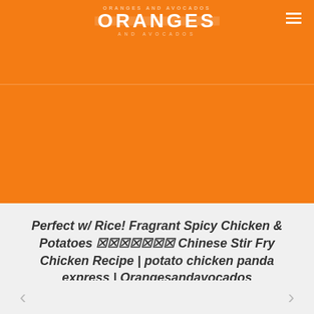ORANGES AND AVOCADOS
[Figure (other): Large orange background block filling the upper portion of the page]
Perfect w/ Rice! Fragrant Spicy Chicken & Potatoes 🀄🀄🀄🀄🀄🀄🀄 Chinese Stir Fry Chicken Recipe | potato chicken panda express | Orangesandavocados